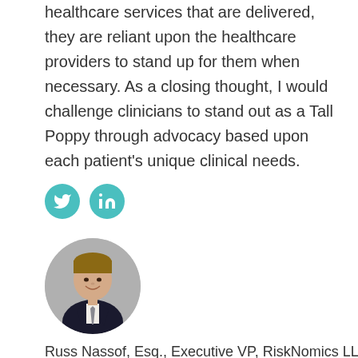healthcare services that are delivered, they are reliant upon the healthcare providers to stand up for them when necessary. As a closing thought, I would challenge clinicians to stand out as a Tall Poppy through advocacy based upon each patient's unique clinical needs.
[Figure (other): Social media icons: Twitter and LinkedIn circular teal buttons]
[Figure (photo): Circular profile photo of a man in a dark suit smiling]
Russ Nassof, Esq., Executive VP, RiskNomics LLC